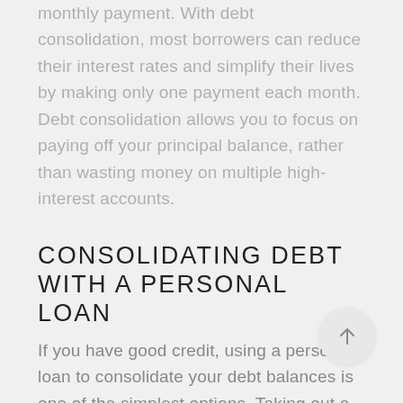monthly payment. With debt consolidation, most borrowers can reduce their interest rates and simplify their lives by making only one payment each month. Debt consolidation allows you to focus on paying off your principal balance, rather than wasting money on multiple high-interest accounts.
CONSOLIDATING DEBT WITH A PERSONAL LOAN
If you have good credit, using a personal loan to consolidate your debt balances is one of the simplest options. Taking out a personal loan with the lowest interest rate possible to pay off all of your other loans will